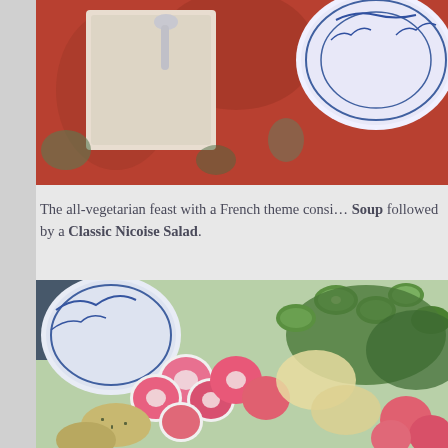[Figure (photo): Top portion of a table setting with blue and white decorative plate, silver spoon, folded napkin, and red floral tablecloth]
The all-vegetarian feast with a French theme consi… Soup followed by a Classic Nicoise Salad.
[Figure (photo): Close-up of a Classic Nicoise Salad with sliced radishes, cucumber, boiled potatoes with herbs, and creamy dressing on a decorative plate]